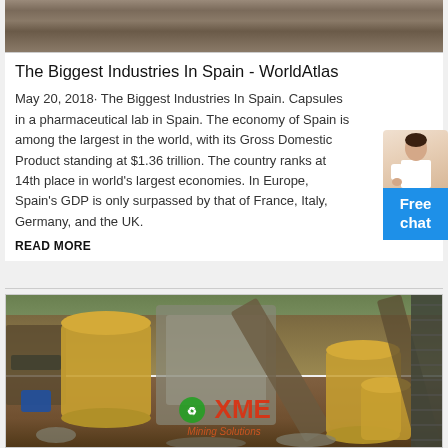[Figure (photo): Partial top image showing rocky/earthy terrain, cropped]
The Biggest Industries In Spain - WorldAtlas
May 20, 2018· The Biggest Industries In Spain. Capsules in a pharmaceutical lab in Spain. The economy of Spain is among the largest in the world, with its Gross Domestic Product standing at $1.36 trillion. The country ranks at 14th place in world's largest economies. In Europe, Spain's GDP is only surpassed by that of France, Italy, Germany, and the UK.
[Figure (screenshot): Free chat widget with a person icon and blue button labelled Free chat]
READ MORE
[Figure (photo): Mining/quarrying industrial site with yellow machinery, gravel, conveyor belts, and XME Mining Solutions watermark overlay]